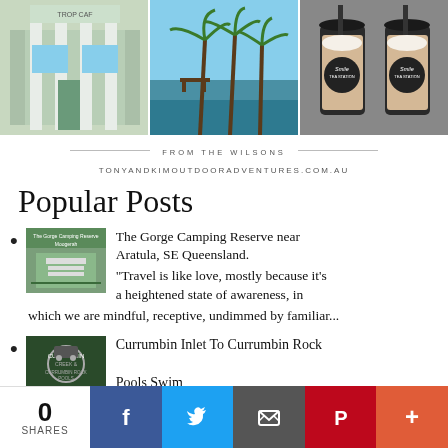[Figure (photo): Three photos side by side: a storefront with columns, a tropical beach with palm trees, and two bubble tea drinks]
FROM THE WILSONS
TONYANDKIMOUTDOORADVENTURES.COM.AU
Popular Posts
The Gorge Camping Reserve near Aratula, SE Queensland. "Travel is like love, mostly because it's a heightened state of awareness, in which we are mindful, receptive, undimmed by familiar...
Currumbin Inlet To Currumbin Rock Pools Swim
Currumbin Inlet To Currumbin Rock...
0 SHARES | Facebook | Twitter | Email | Pinterest | More